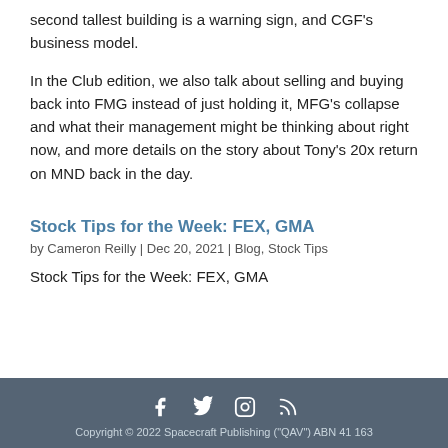second tallest building is a warning sign, and CGF's business model.
In the Club edition, we also talk about selling and buying back into FMG instead of just holding it, MFG's collapse and what their management might be thinking about right now, and more details on the story about Tony's 20x return on MND back in the day.
Stock Tips for the Week: FEX, GMA
by Cameron Reilly | Dec 20, 2021 | Blog, Stock Tips
Stock Tips for the Week: FEX, GMA
Copyright © 2022 Spacecraft Publishing ("QAV") ABN 41 163